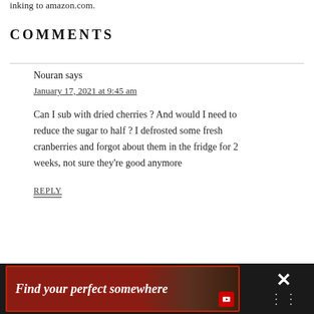inking to amazon.com.
COMMENTS
Nouran says
January 17, 2021 at 9:45 am
Can I sub with dried cherries ? And would I need to reduce the sugar to half ? I defrosted some fresh cranberries and forgot about them in the fridge for 2 weeks, not sure they're good anymore
REPLY
[Figure (screenshot): Advertisement banner with dark background showing text 'Find your perfect somewhere' with a red background image panel and close/dismiss controls]